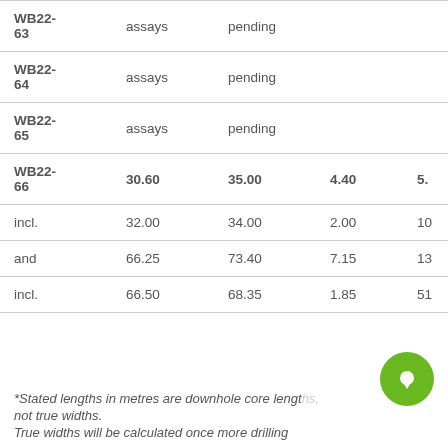| Hole | From | To | Width | Grade |
| --- | --- | --- | --- | --- |
| WB22-63 | assays | pending |  |  |
| WB22-64 | assays | pending |  |  |
| WB22-65 | assays | pending |  |  |
| WB22-66 | 30.60 | 35.00 | 4.40 | 5. |
| incl. | 32.00 | 34.00 | 2.00 | 10 |
| and | 66.25 | 73.40 | 7.15 | 13 |
| incl. | 66.50 | 68.35 | 1.85 | 51 |
*Stated lengths in metres are downhole core lengths, not true widths. True widths will be calculated once more drilling